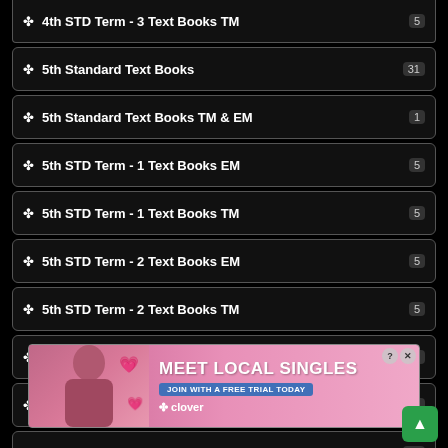4th STD Term - 3 Text Books TM  5
5th Standard Text Books  31
5th Standard Text Books TM & EM  1
5th STD Term - 1 Text Books EM  5
5th STD Term - 1 Text Books TM  5
5th STD Term - 2 Text Books EM  5
5th STD Term - 2 Text Books TM  5
5th STD Term - 3 Text Books EM  5
5th STD Term - 3 Text Books TM  5
6th Standard Text Books  31
6th STD Term - 1 Text Books EM  5
6th STD Term - 1 Text Books TM  5
[Figure (screenshot): Advertisement overlay: MEET LOCAL SINGLES - Join with a free trial today (Clover dating app ad)]